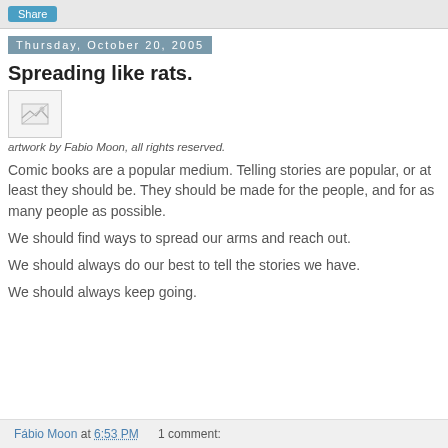Share
Thursday, October 20, 2005
Spreading like rats.
[Figure (illustration): Small image placeholder with broken image icon]
artwork by Fabio Moon, all rights reserved.
Comic books are a popular medium. Telling stories are popular, or at least they should be. They should be made for the people, and for as many people as possible.
We should find ways to spread our arms and reach out.
We should always do our best to tell the stories we have.
We should always keep going.
Fábio Moon at 6:53 PM   1 comment: